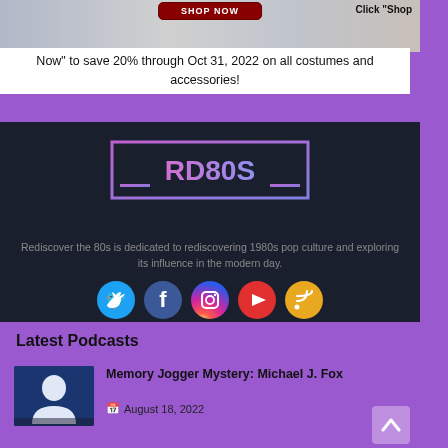[Figure (photo): Shop Now promotional banner with people in costumes and a red Shop Now button]
Click "Shop Now" to save 20% through Oct 31, 2022 on all costumes and accessories!
[Figure (logo): RD80S logo in pink/purple gradient with bracket border on dark background]
Rediscover the 80s is dedicated to rediscovering 1980s pop culture and exploring its influence in the modern day.
[Figure (infographic): Social media icons: Twitter (blue), Facebook (dark blue), Instagram (gradient), YouTube (red), RSS (yellow)]
Latest Podcasts
[Figure (photo): Thumbnail photo of Michael J. Fox on blue background]
Memory Jogger Mystery: Michael J. Fox
August 18, 2022